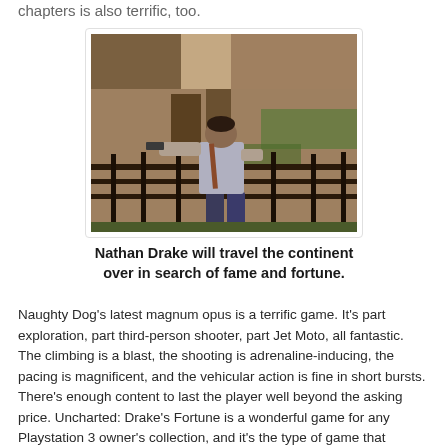chapters is also terrific, too.
[Figure (photo): A character (Nathan Drake) seen from behind, aiming a weapon in a ruined, overgrown environment with wooden structures and ancient stone walls.]
Nathan Drake will travel the continent over in search of fame and fortune.
Naughty Dog's latest magnum opus is a terrific game. It's part exploration, part third-person shooter, part Jet Moto, all fantastic. The climbing is a blast, the shooting is adrenaline-inducing, the pacing is magnificent, and the vehicular action is fine in short bursts. There's enough content to last the player well beyond the asking price. Uncharted: Drake's Fortune is a wonderful game for any Playstation 3 owner's collection, and it's the type of game that players will want to keep coming back to, at least until Uncharted 2 hits.